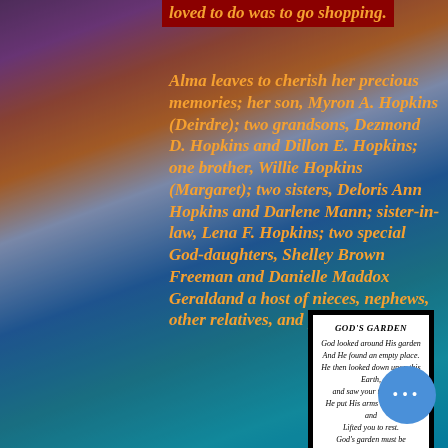loved to do was to go shopping.
Alma leaves to cherish her precious memories; her son, Myron A. Hopkins (Deirdre); two grandsons, Dezmond D. Hopkins and Dillon E. Hopkins; one brother, Willie Hopkins (Margaret); two sisters, Deloris Ann Hopkins and Darlene Mann; sister-in-law, Lena F. Hopkins; two special God-daughters, Shelley Brown Freeman and Danielle Maddox Geraldand a host of nieces, nephews, other relatives, and friends.
[Figure (other): White card with double border containing poem titled GOD'S GARDEN with italic text verse]
GOD'S GARDEN
God looked around His garden
And He found an empty place.
He then looked down upon this Earth,
and saw your tired face.
He put His arms around you and
Lifted you to rest.
God's garden must be beautiful,
He always takes the best.